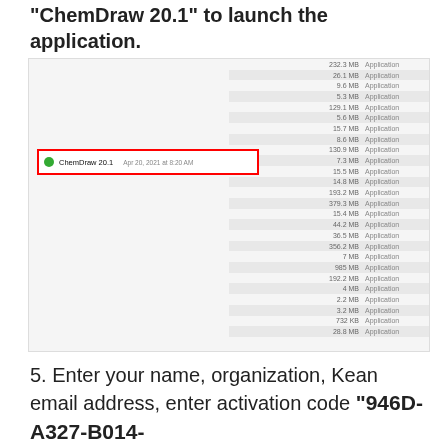"ChemDraw 20.1" to launch the application.
[Figure (screenshot): macOS Finder application list showing multiple apps with file sizes and types. ChemDraw 20.1 entry is highlighted with a red border, showing date Apr 20, 2021 at 8:20 AM.]
5. Enter your name, organization, Kean email address, enter activation code "946D-A327-B014-